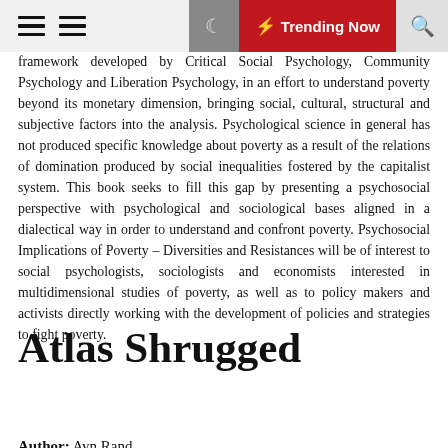Trending Now
framework developed by Critical Social Psychology, Community Psychology and Liberation Psychology, in an effort to understand poverty beyond its monetary dimension, bringing social, cultural, structural and subjective factors into the analysis. Psychological science in general has not produced specific knowledge about poverty as a result of the relations of domination produced by social inequalities fostered by the capitalist system. This book seeks to fill this gap by presenting a psychosocial perspective with psychological and sociological bases aligned in a dialectical way in order to understand and confront poverty. Psychosocial Implications of Poverty – Diversities and Resistances will be of interest to social psychologists, sociologists and economists interested in multidimensional studies of poverty, as well as to policy makers and activists directly working with the development of policies and strategies to fight poverty.
Atlas Shrugged
Author: Ayn Rand